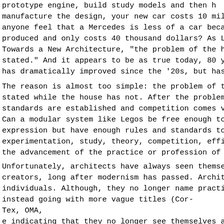prototype engine, build study models and then manufacture the design, your new car costs 10 million. Does anyone feel that a Mercedes is less of a car because it mass produced and only costs 40 thousand dollars? As Le Corbusier wrote in Towards a New Architecture, "the problem of the house has not been stated." And it appears to be as true today, 80 years later. The car has dramatically improved since the '20s, but has the house?
The reason is almost too simple: the problem of the car has been stated while the house has not. After the problem is stated, types and standards are established and competition comes violently into play. Can a modular system like Legos be free enough to allow individual expression but have enough rules and standards to allow for experimentation, study, theory, competition, efficiency, and ultimately the advancement of the practice or profession of architecture?
Unfortunately, architects have always seen themselves as individual creators, long after modernism has passed. Architects still work as individuals. Although, they no longer name practices after themselves, instead going with more vague titles (Cor-Tex, OMA, ...) indicating that they no longer see themselves as auteurs. But